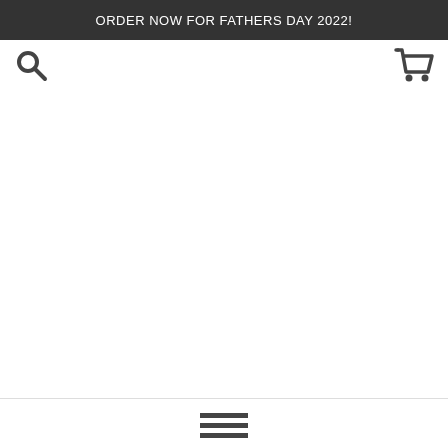ORDER NOW FOR FATHERS DAY 2022!
[Figure (other): Search icon (magnifying glass) in top left navigation area]
[Figure (other): Shopping cart icon in top right navigation area]
[Figure (other): Hamburger menu icon (three horizontal lines) at bottom center]